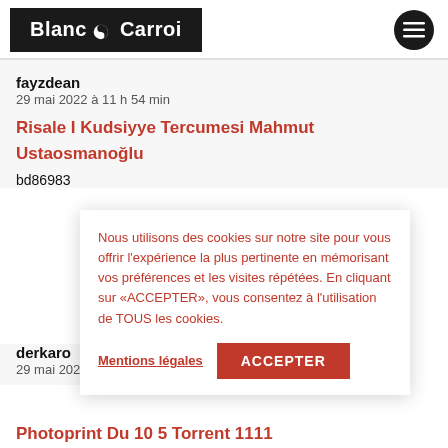[Figure (logo): Blanc N Carroi logo — white text on black background with a moon/yin-yang icon, plus a circular dark hamburger menu button on the right]
fayzdean
29 mai 2022 à 11 h 54 min
Risale I Kudsiyye Tercumesi Mahmut Ustaosmanoğlu
bd86983...
Nous utilisons des cookies sur notre site pour vous offrir l'expérience la plus pertinente en mémorisant vos préférences et les visites répétées. En cliquant sur «ACCEPTER», vous consentez à l'utilisation de TOUS les cookies.
Mentions légales
ACCEPTER
derkaro
29 mai 2022
Photoprint Du 10 5 Torrent 1111